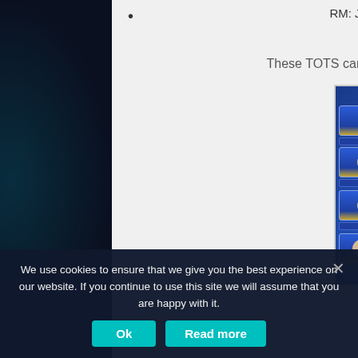RM: James Vaughan – Bury (England) – England
These TOTS cards were available in packs until May 19th.
[Figure (photo): FIFA 17 Team of the Season cards displayed in a blue card grid format showing player portraits in hexagonal cards]
We use cookies to ensure that we give you the best experience on our website. If you continue to use this site we will assume that you are happy with it.